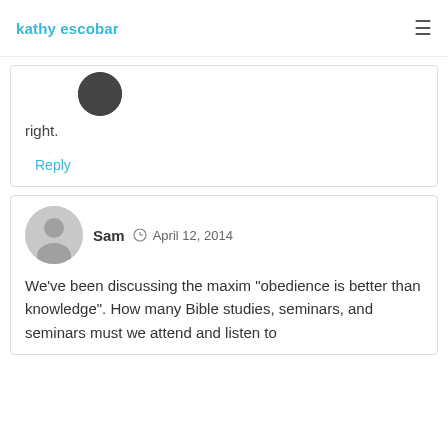kathy escobar
right.
Reply
Sam  April 12, 2014
We've been discussing the maxim "obedience is better than knowledge". How many Bible studies, seminars, and seminars must we attend and listen to